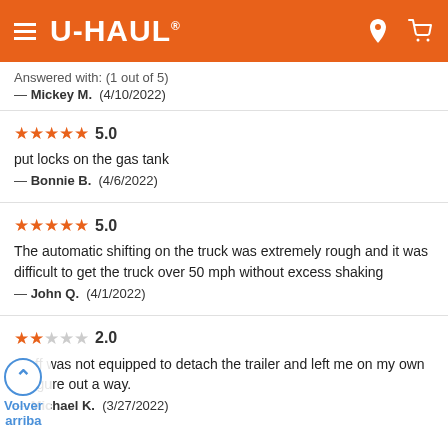U-HAUL
Answered with: (1 out of 5)
— Mickey M.  (4/10/2022)
★★★★★ 5.0
put locks on the gas tank
— Bonnie B.  (4/6/2022)
★★★★★ 5.0
The automatic shifting on the truck was extremely rough and it was difficult to get the truck over 50 mph without excess shaking
— John Q.  (4/1/2022)
★★☆☆☆ 2.0
Staff was not equipped to detach the trailer and left me on my own to figure out a way.
— Michael K.  (3/27/2022)